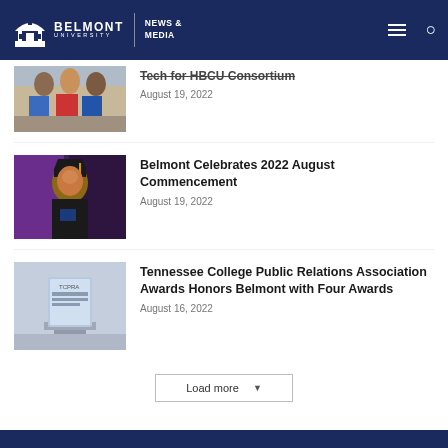Belmont University — News & Media
Tech for HBCU Consortium
August 19, 2022
[Figure (photo): Students sitting outdoors on brick wall]
Belmont Celebrates 2022 August Commencement
August 19, 2022
[Figure (photo): Graduate in cap and gown holding diploma]
Tennessee College Public Relations Association Awards Honors Belmont with Four Awards
August 16, 2022
[Figure (photo): TCPRA award trophy on table]